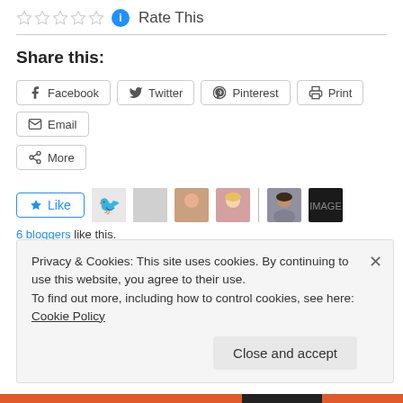Rate This
Share this:
Facebook  Twitter  Pinterest  Print  Email  More
Like  6 bloggers like this.
January 9, 2015
Leave a Reply
Privacy & Cookies: This site uses cookies. By continuing to use this website, you agree to their use. To find out more, including how to control cookies, see here: Cookie Policy
Close and accept